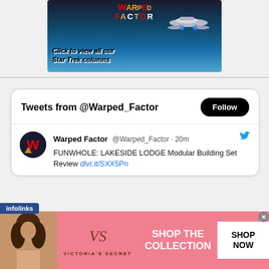[Figure (screenshot): Warped Factor website banner ad with Star Trek Enterprise spaceship, blue space background, and text 'Click to view all our Star Trek columns']
[Figure (screenshot): Twitter widget showing 'Tweets from @Warped_Factor' with Follow button and a tweet from Warped Factor @Warped_Factor 20m: 'FUNWHOLE: LAKESIDE LODGE Modular Building Set Review dlvr.it/SXX5Pn']
[Figure (screenshot): Victoria's Secret advertisement banner with woman photo, VS logo, 'SHOP THE COLLECTION' text and 'SHOP NOW' button on pink background. Infolinks label visible at top-left.]